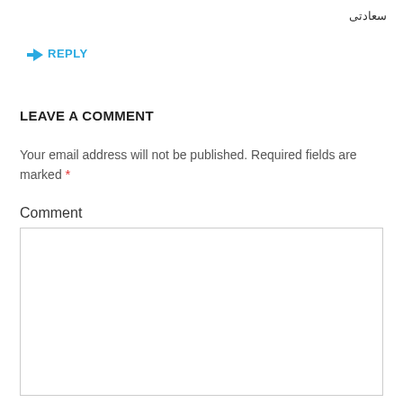سعادتی
↳ REPLY
LEAVE A COMMENT
Your email address will not be published. Required fields are marked *
Comment